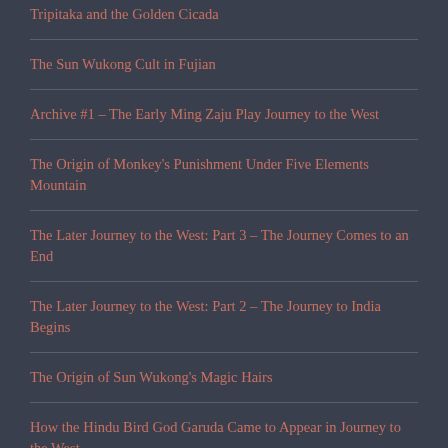Tripitaka and the Golden Cicada
The Sun Wukong Cult in Fujian
Archive #1 – The Early Ming Zaju Play Journey to the West
The Origin of Monkey's Punishment Under Five Elements Mountain
The Later Journey to the West: Part 3 – The Journey Comes to an End
The Later Journey to the West: Part 2 – The Journey to India Begins
The Origin of Sun Wukong's Magic Hairs
How the Hindu Bird God Garuda Came to Appear in Journey to the West
The Possible Origin of Wanfu Temple's Multiple Great Sages